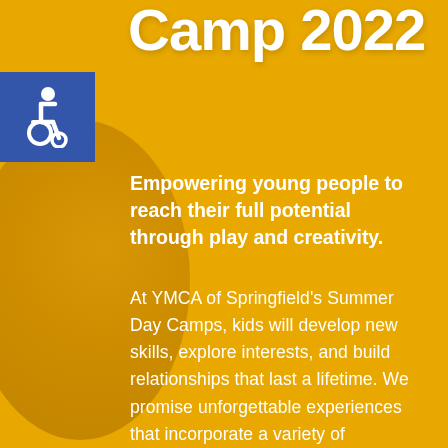Camp 2022
[Figure (illustration): Accessibility wheelchair icon in blue square]
Empowering young people to reach their full potential through play and creativity.
At YMCA of Springfield's Summer Day Camps, kids will develop new skills, explore interests, and build relationships that last a lifetime. We promise unforgettable experiences that incorporate a variety of enrichment activities, which could